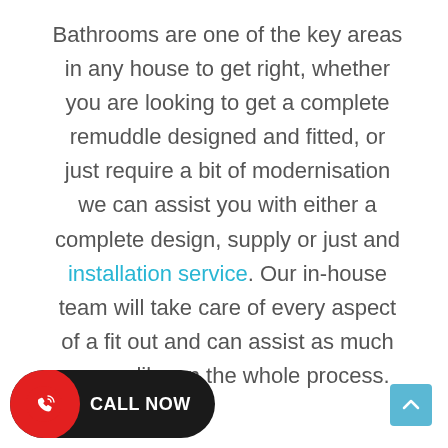Bathrooms are one of the key areas in any house to get right, whether you are looking to get a complete remuddle designed and fitted, or just require a bit of modernisation we can assist you with either a complete design, supply or just and installation service. Our in-house team will take care of every aspect of a fit out and can assist as much as you like on the whole process.